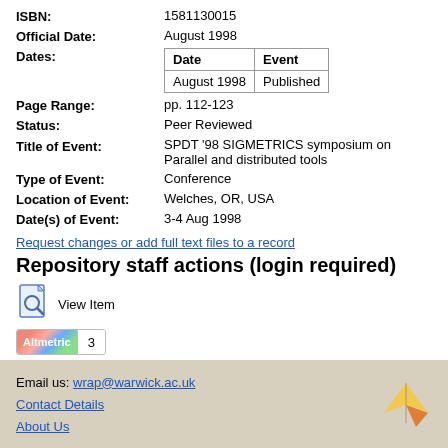ISBN: 1581130015
Official Date: August 1998
Dates:
| Date | Event |
| --- | --- |
| August 1998 | Published |
Page Range: pp. 112-123
Status: Peer Reviewed
Title of Event: SPDT '98 SIGMETRICS symposium on Parallel and distributed tools
Type of Event: Conference
Location of Event: Welches, OR, USA
Date(s) of Event: 3-4 Aug 1998
Request changes or add full text files to a record
Repository staff actions (login required)
View Item
Altmetric 3
Email us: wrap@warwick.ac.uk
Contact Details
About Us